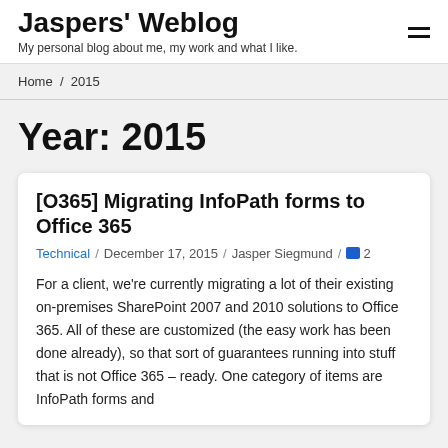Jaspers' Weblog
My personal blog about me, my work and what I like.
Home / 2015
Year: 2015
[O365] Migrating InfoPath forms to Office 365
Technical / December 17, 2015 / Jasper Siegmund / 2
For a client, we're currently migrating a lot of their existing on-premises SharePoint 2007 and 2010 solutions to Office 365. All of these are customized (the easy work has been done already), so that sort of guarantees running into stuff that is not Office 365 – ready. One category of items are InfoPath forms and